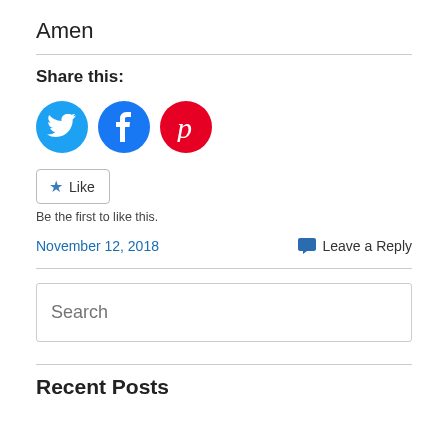Amen
Share this:
[Figure (infographic): Three social media share buttons: Twitter (blue circle with bird icon), Facebook (blue circle with f icon), Pinterest (red circle with P icon)]
Like Be the first to like this.
November 12, 2018    Leave a Reply
Search
Recent Posts